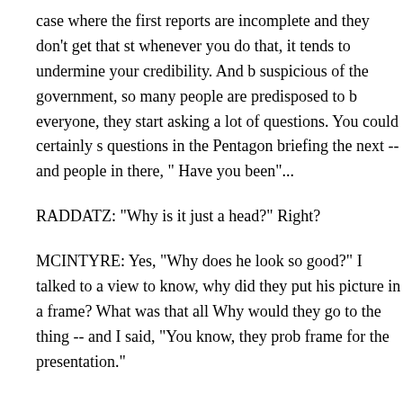case where the first reports are incomplete and they don't get that st whenever you do that, it tends to undermine your credibility. And b suspicious of the government, so many people are predisposed to b everyone, they start asking a lot of questions. You could certainly s questions in the Pentagon briefing the next -- and people in there, " Have you been"...
RADDATZ: "Why is it just a head?" Right?
MCINTYRE: Yes, "Why does he look so good?" I talked to a view to know, why did they put his picture in a frame? What was that all Why would they go to the thing -- and I said, "You know, they prob frame for the presentation."
KURTZ: Let me play, Tom Friedman, a bite from President Bush o coverage of this war. (BEGIN VIDEO CLIP)